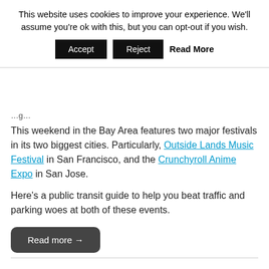This website uses cookies to improve your experience. We'll assume you're ok with this, but you can opt-out if you wish.
Accept | Reject | Read More
This weekend in the Bay Area features two major festivals in its two biggest cities. Particularly, Outside Lands Music Festival in San Francisco, and the Crunchyroll Anime Expo in San Jose.
Here's a public transit guide to help you beat traffic and parking woes at both of these events.
Read more →